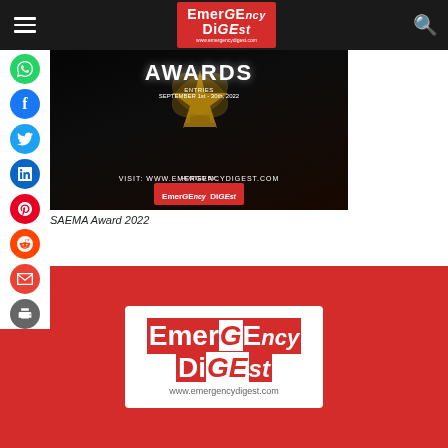Emergency Digest - navigation bar with hamburger menu and search icon
[Figure (photo): SAEMA Awards promotion image with gold trophy/wreath design on dark background. Text reads: AWARDS, ENTRIES SEPTEMBER 1st - 30th, 2022, VISIT: WWW.EMERGENCYDIGEST.COM, HOSTED BY: Emergency Digest logo]
SAEMA Award 2022
[Figure (logo): Emergency Digest logo on red background - large white bold text reading 'Emergency DiGEst' with www.emergencydigest.com below]